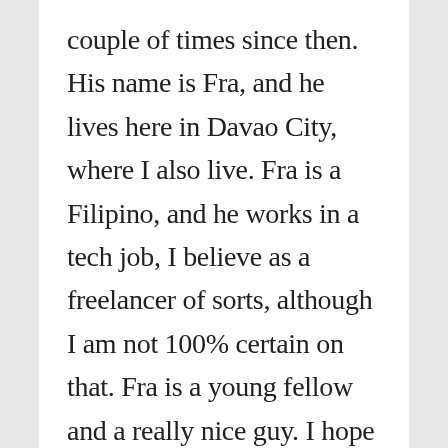couple of times since then.  His name is Fra, and he lives here in Davao City, where I also live.  Fra is a Filipino, and he works in a tech job, I believe as a freelancer of sorts, although I am not 100% certain on that.  Fra is a young fellow and a really nice guy.  I hope that I will be able to know him better as time goes by.
Anyway, I noticed on Facebook that Fra said this: